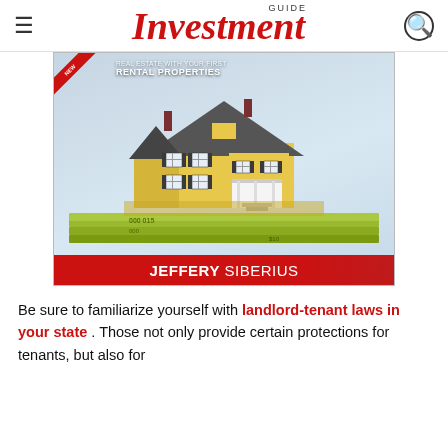Investment GUIDE
[Figure (illustration): Book cover for a real estate investment guide by Jeffery Siberius featuring a yellow house model sitting on stacks of money, with a red ribbon in the top-left corner and text reading 'RENTAL PROPERTIES'. Author name 'JEFFERY SIBERIUS' shown in a red banner at the bottom of the cover.]
Be sure to familiarize yourself with landlord-tenant laws in your state . Those not only provide certain protections for tenants, but also for